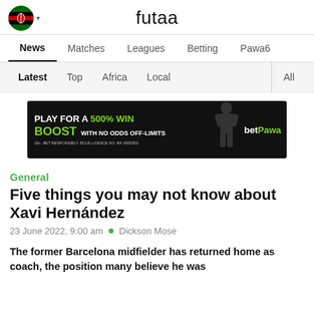futaa
News  Matches  Leagues  Betting  Pawa6
Latest  Top  Africa  Local  All
[Figure (screenshot): betPawa advertisement banner: PLAY FOR A 500% WIN BOOST WITH NO ODDS OFF-LIMITS. 18+. BET RESPONSIBLY. BCLB LICENCE NO. BK 0000353.]
General
Five things you may not know about Xavi Hernández
23 June 2022, 9:00 am • Dickson Mose
The former Barcelona midfielder has returned home as coach, the position many believe he was